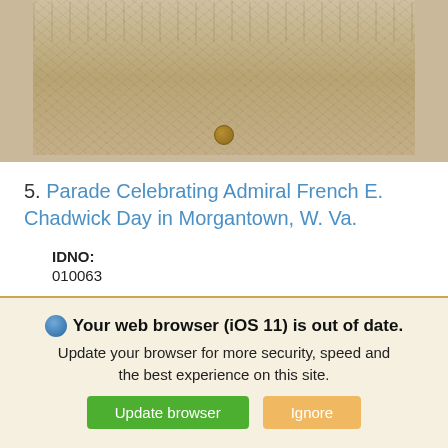[Figure (photo): Sepia-toned photograph showing a textured surface with decorative elements and a coin visible at the bottom center]
5. Parade Celebrating Admiral French E. Chadwick Day in Morgantown, W. Va.
IDNO:
010063
Title:
Parade Celebrating Admiral French E. Chadwick Day in Morgantown, W. Va.
Date:
1899
Description:
Your web browser (iOS 11) is out of date. Update your browser for more security, speed and the best experience on this site.